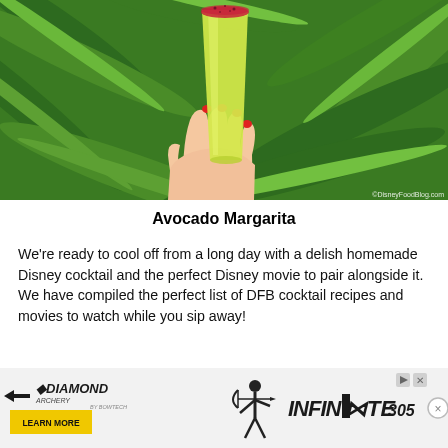[Figure (photo): A hand with red nails holding a tall glass of yellow-green avocado margarita with a red/purple salted rim, set against a background of tropical green palm leaves. Watermark: ©DisneyFoodBlog.com]
Avocado Margarita
We're ready to cool off from a long day with a delish homemade Disney cocktail and the perfect Disney movie to pair alongside it. We have compiled the perfect list of DFB cocktail recipes and movies to watch while you sip away!
[Figure (illustration): Diamond Archery advertisement banner with yellow 'LEARN MORE' button, archer silhouette, and 'INFINITE 305' text logo]